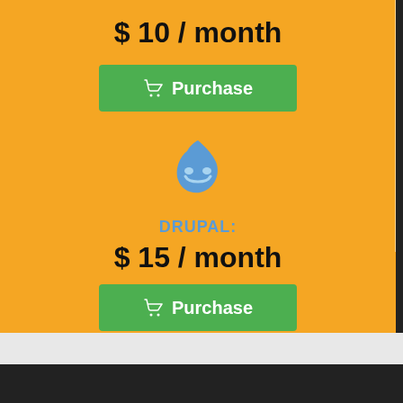$ 10 / month
Purchase
[Figure (logo): Drupal drop logo icon in blue]
DRUPAL:
$ 15 / month
Purchase